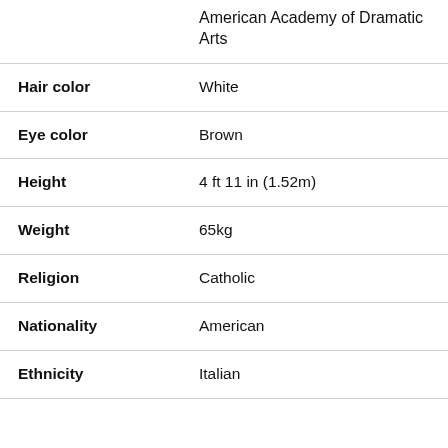|  | American Academy of Dramatic Arts |
| Hair color | White |
| Eye color | Brown |
| Height | 4 ft 11 in (1.52m) |
| Weight | 65kg |
| Religion | Catholic |
| Nationality | American |
| Ethnicity | Italian |